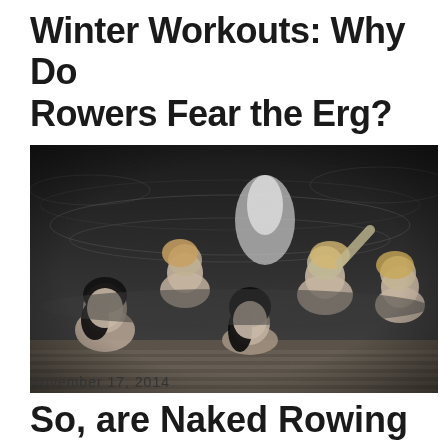Winter Workouts: Why Do Rowers Fear the Erg?
Share
[Figure (photo): Black and white photograph of five women laughing and splashing in water near a wooden dock]
November 17, 2014
So, are Naked Rowing